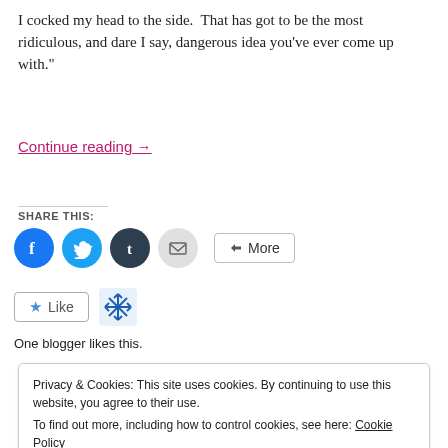I cocked my head to the side. That has got to be the most ridiculous, and dare I say, dangerous idea you've ever come up with."
Continue reading →
SHARE THIS:
[Figure (infographic): Social sharing buttons: Facebook (blue circle), Twitter (light blue circle), Tumblr (dark circle), Email (gray circle), and a More button with share icon]
[Figure (infographic): Like button with blue star and blogger avatar snowflake icon]
One blogger likes this.
Privacy & Cookies: This site uses cookies. By continuing to use this website, you agree to their use.
To find out more, including how to control cookies, see here: Cookie Policy
Close and accept